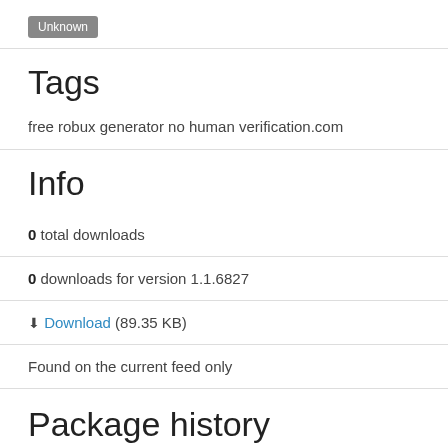Unknown
Tags
free robux generator no human verification.com
Info
0 total downloads
0 downloads for version 1.1.6827
⬇ Download (89.35 KB)
Found on the current feed only
Package history